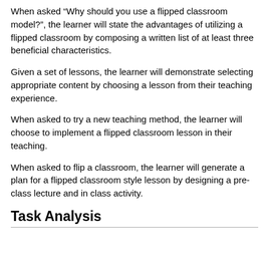When asked “Why should you use a flipped classroom model?”, the learner will state the advantages of utilizing a flipped classroom by composing a written list of at least three beneficial characteristics.
Given a set of lessons, the learner will demonstrate selecting appropriate content by choosing a lesson from their teaching experience.
When asked to try a new teaching method, the learner will choose to implement a flipped classroom lesson in their teaching.
When asked to flip a classroom, the learner will generate a plan for a flipped classroom style lesson by designing a pre-class lecture and in class activity.
Task Analysis